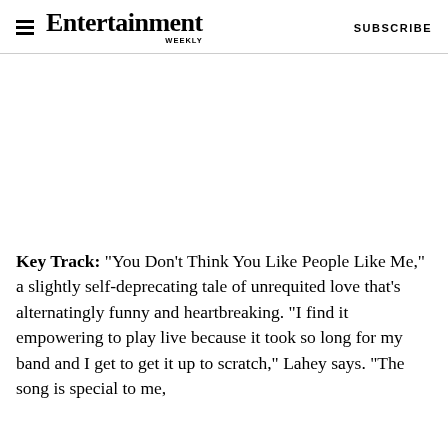Entertainment Weekly   SUBSCRIBE
[Figure (photo): Empty white image placeholder area]
Key Track: “You Don’t Think You Like People Like Me,” a slightly self-deprecating tale of unrequited love that’s alternatingly funny and heartbreaking. “I find it empowering to play live because it took so long for my band and I get to get it up to scratch,” Lahey says. “The song is special to me,